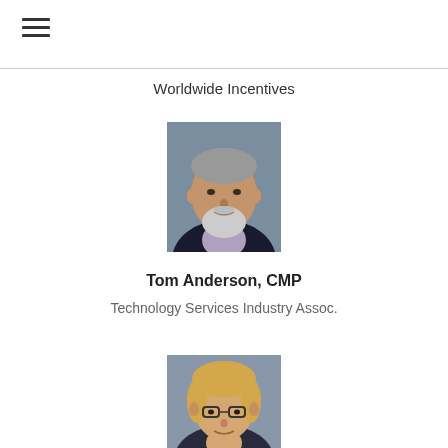Worldwide Incentives
[Figure (photo): Headshot of Tom Anderson, CMP — an older gentleman with white beard wearing a dark suit jacket]
Tom Anderson, CMP
Technology Services Industry Assoc.
[Figure (photo): Partial headshot of a woman with short blonde hair and glasses, cropped at bottom of page]